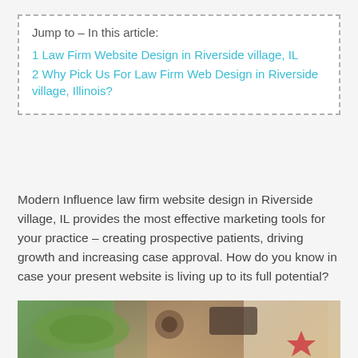Jump to – In this article:
1 Law Firm Website Design in Riverside village, IL
2 Why Pick Us For Law Firm Web Design in Riverside village, Illinois?
Modern Influence law firm website design in Riverside village, IL provides the most effective marketing tools for your practice – creating prospective patients, driving growth and increasing case approval. How do you know in case your present website is living up to its full potential?
[Figure (photo): Photo showing a stethoscope, world map, and medical/legal items on a wooden surface]